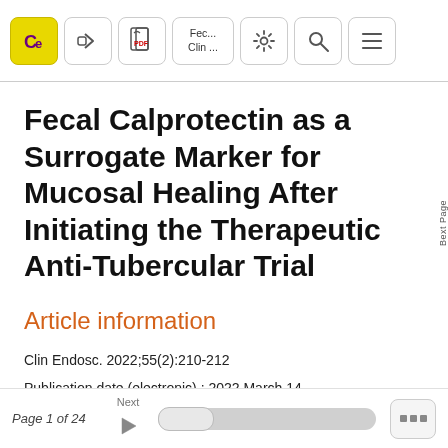[Figure (screenshot): Application toolbar with CE logo button (yellow), share button, PDF button, document label showing 'Fec... Clin ...', settings button, search button, and list/menu button]
Fecal Calprotectin as a Surrogate Marker for Mucosal Healing After Initiating the Therapeutic Anti-Tubercular Trial
Article information
Clin Endosc. 2022;55(2):210-212
Publication date (electronic) : 2022 March 14
Page 1 of 24